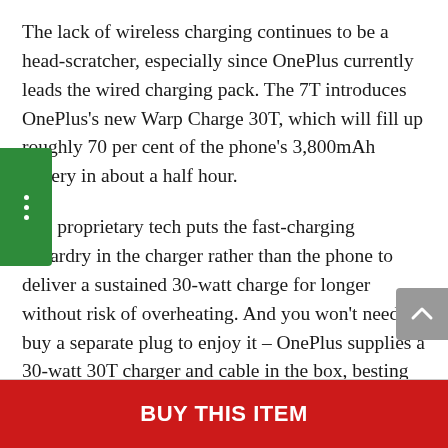The lack of wireless charging continues to be a head-scratcher, especially since OnePlus currently leads the wired charging pack. The 7T introduces OnePlus's new Warp Charge 30T, which will fill up roughly 70 per cent of the phone's 3,800mAh battery in about a half hour.
The proprietary tech puts the fast-charging wizardry in the charger rather than the phone to deliver a sustained 30-watt charge for longer without risk of overheating. And you won't need to buy a separate plug to enjoy it – OnePlus supplies a 30-watt 30T charger and cable in the box, besting
BUY THIS ITEM